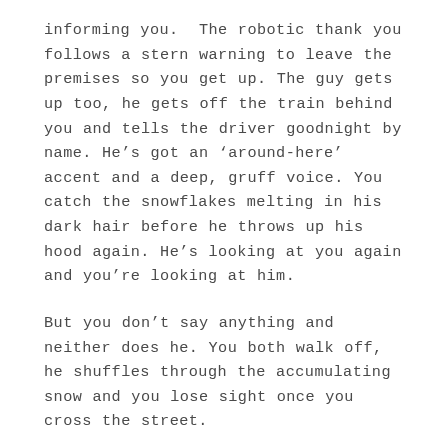informing you.  The robotic thank you follows a stern warning to leave the premises so you get up. The guy gets up too, he gets off the train behind you and tells the driver goodnight by name. He's got an 'around-here' accent and a deep, gruff voice. You catch the snowflakes melting in his dark hair before he throws up his hood again. He's looking at you again and you're looking at him.
But you don't say anything and neither does he. You both walk off, he shuffles through the accumulating snow and you lose sight once you cross the street.
You get to your building, ascend the flights of stairs in the old converted school, and reach the apartment. Your roommate is wrapped up on the couch listening to jazz records and smoking